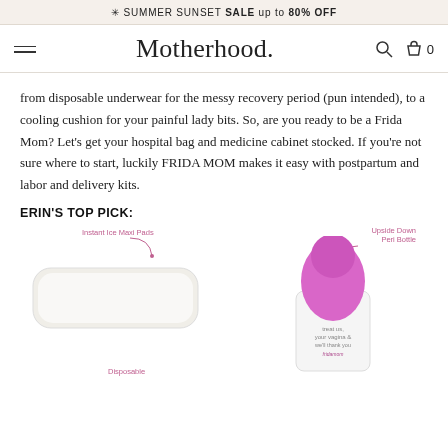✳ SUMMER SUNSET SALE up to 80% OFF
Motherhood.
from disposable underwear for the messy recovery period (pun intended), to a cooling cushion for your painful lady bits. So, are you ready to be a Frida Mom? Let's get your hospital bag and medicine cabinet stocked. If you're not sure where to start, luckily FRIDA MOM makes it easy with postpartum and labor and delivery kits.
ERIN'S TOP PICK:
[Figure (photo): Product photo showing Instant Ice Maxi Pads (a white rectangular pad) on the left with a pink curved arrow label, and a Frida Mom Upside Down Peri Bottle (pink cap, white bottle) on the right also with a pink arrow label. At bottom left of the peri bottle product is text reading 'Treat us, your vagina & we'll thank you – fridamom'. Below the ice pad is a 'Disposable' label.]